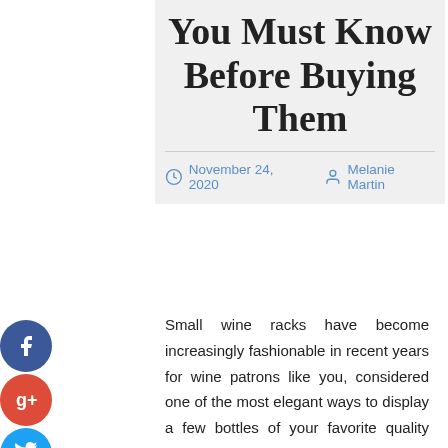You Must Know Before Buying Them
November 24, 2020   Melanie Martin
Small wine racks have become increasingly fashionable in recent years for wine patrons like you, considered one of the most elegant ways to display a few bottles of your favorite quality wine. Small wine storage shelves are great for small space solutions for wine storage or for people like you who have small wine collections. The bottles of wine